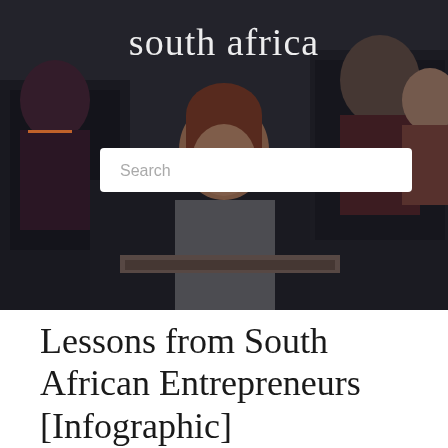[Figure (photo): Hero image of people working at computer monitors in an office setting, with a dark overlay. Text 'south africa' appears in white serif font at the top center. An orange horizontal bar and a search box with placeholder text 'Search' are overlaid on the image.]
Lessons from South African Entrepreneurs [Infographic]